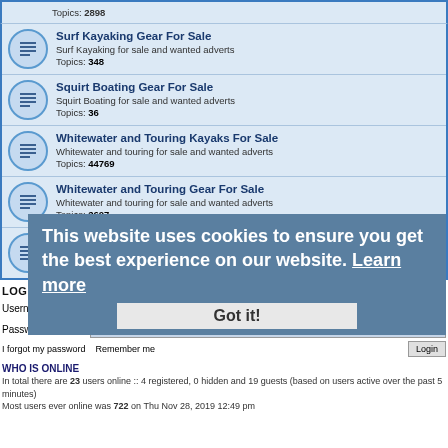Topics: 2898
Surf Kayaking Gear For Sale
Surf Kayaking for sale and wanted adverts
Topics: 348
Squirt Boating Gear For Sale
Squirt Boating for sale and wanted adverts
Topics: 36
Whitewater and Touring Kayaks For Sale
Whitewater and touring for sale and wanted adverts
Topics: 44769
Whitewater and Touring Gear For Sale
Whitewater and touring for sale and wanted adverts
Topics: 2607
Stand Up Paddleboarding Gear For Sale
Stand Up Paddleboarding for sale and wanted adverts
Topics: 6
LOGIN • REGISTER
Username:
Password:
I forgot my password   Remember me   Login
This website uses cookies to ensure you get the best experience on our website. Learn more
Got it!
WHO IS ONLINE
In total there are 23 users online :: 4 registered, 0 hidden and 19 guests (based on users active over the past 5 minutes)
Most users ever online was 722 on Thu Nov 28, 2019 12:49 pm